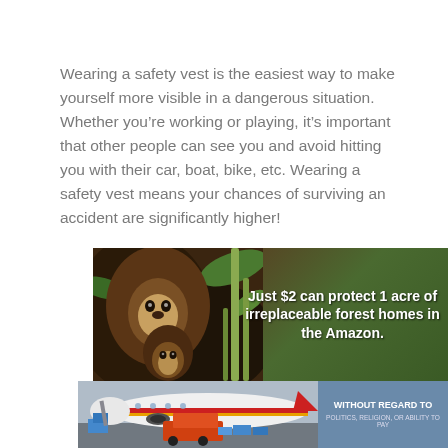Wearing a safety vest is the easiest way to make yourself more visible in a dangerous situation. Whether you're working or playing, it's important that other people can see you and avoid hitting you with their car, boat, bike, etc. Wearing a safety vest means your chances of surviving an accident are significantly higher!
[Figure (photo): Advertisement showing monkeys in the Amazon forest with text: 'Just $2 can protect 1 acre of irreplaceable forest homes in the Amazon.']
[Figure (photo): Advertisement showing an airplane being loaded with cargo on an airport tarmac, with a blue panel on the right reading 'WITHOUT REGARD TO POLITICS, RELIGION, OR ABILITY TO PAY']